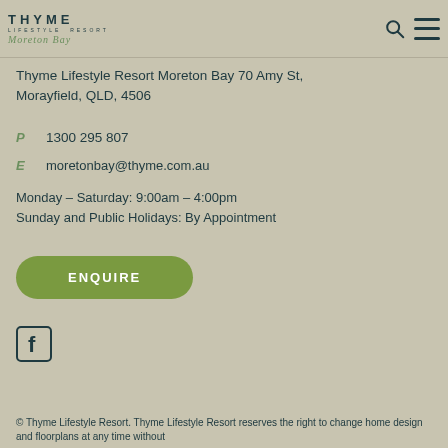THYME LIFESTYLE RESORT Moreton Bay
Thyme Lifestyle Resort Moreton Bay 70 Amy St, Morayfield, QLD, 4506
P  1300 295 807
E  moretonbay@thyme.com.au
Monday – Saturday: 9:00am – 4:00pm
Sunday and Public Holidays: By Appointment
[Figure (other): ENQUIRE button - green rounded rectangle]
[Figure (other): Facebook icon - square with F logo]
© Thyme Lifestyle Resort. Thyme Lifestyle Resort reserves the right to change home design and floorplans at any time without